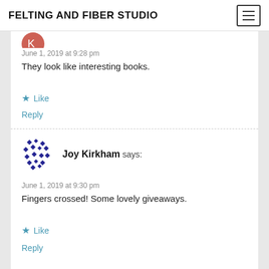FELTING AND FIBER STUDIO
June 1, 2019 at 9:28 pm
They look like interesting books.
Like
Reply
Joy Kirkham says:
June 1, 2019 at 9:30 pm
Fingers crossed! Some lovely giveaways.
Like
Reply